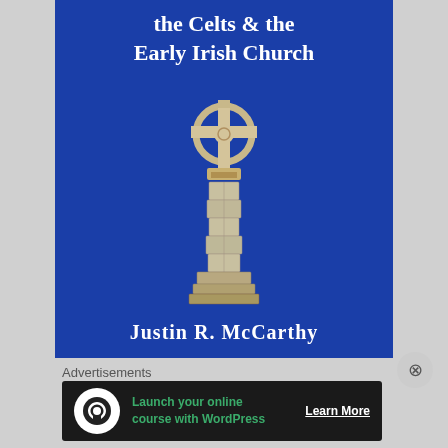[Figure (illustration): Book cover with blue background showing title 'the Celts & the Early Irish Church', an illustration of a Celtic cross on a stone pillar/round tower, and author name 'Justin R. McCarthy']
Advertisements
[Figure (screenshot): Advertisement banner: 'Launch your online course with WordPress' with 'Learn More' call to action on dark background]